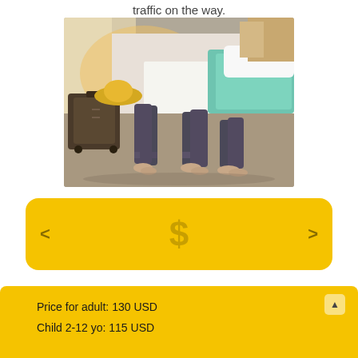traffic on the way.
[Figure (photo): Two people lying on a hotel bed with feet hanging off the edge, luggage and hat visible on the floor beside the bed, teal blanket on one side]
[Figure (screenshot): Yellow card UI element with left/right navigation arrows and a dollar sign icon in the center]
Price for adult: 130 USD
Child 2-12 yo: 115 USD